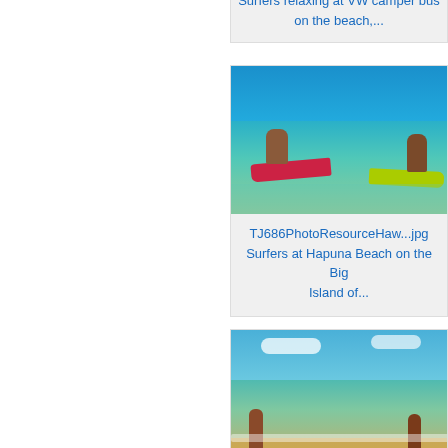[Figure (photo): Partial top card showing text: 'Surfers relaxing at VW camper bus on the beach,...' (cropped, top portion cut off)]
Surfers relaxing at VW camper bus on the beach,...
[Figure (photo): Two surfers paddling on surfboards in clear turquoise shallow water viewed from behind]
TJ686PhotoResourceHaw...jpg
Surfers at Hapuna Beach on the Big Island of...
[Figure (photo): Two surfers carrying surfboards walking on a beach with turquoise water and sandy shore]